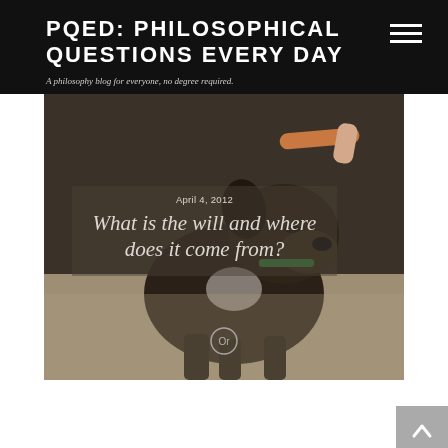PQED: PHILOSOPHICAL QUESTIONS EVERY DAY
A philosophy blog for everyone, no degree required.
[Figure (photo): A dark brindle dog being balanced with a sausage/hot dog on its head, standing outdoors on a sandy/grassy surface. Overlaid is a semi-transparent box with the date 'April 4, 2012' and the article title 'What is the will and where does it come from?']
April 4, 2012
What is the will and where does it come from?